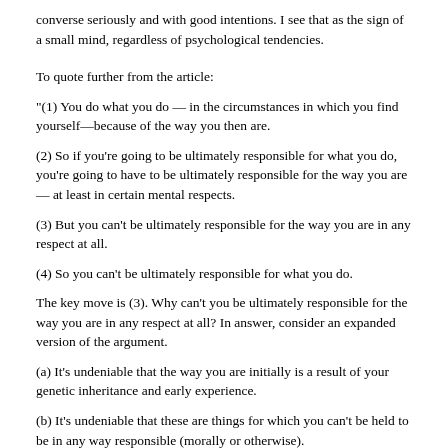converse seriously and with good intentions. I see that as the sign of a small mind, regardless of psychological tendencies.
To quote further from the article:
"(1) You do what you do — in the circumstances in which you find yourself—because of the way you then are.
(2) So if you're going to be ultimately responsible for what you do, you're going to have to be ultimately responsible for the way you are — at least in certain mental respects.
(3) But you can't be ultimately responsible for the way you are in any respect at all.
(4) So you can't be ultimately responsible for what you do.
The key move is (3). Why can't you be ultimately responsible for the way you are in any respect at all? In answer, consider an expanded version of the argument.
(a) It's undeniable that the way you are initially is a result of your genetic inheritance and early experience.
(b) It's undeniable that these are things for which you can't be held to be in any way responsible (morally or otherwise).
(c) But you can't at any later stage of life hope to acquire true or ultimate moral responsibility for the way you are by trying to change the way you already are